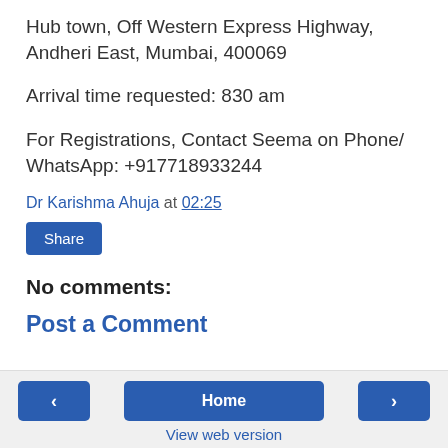Hub town, Off Western Express Highway, Andheri East, Mumbai, 400069
Arrival time requested: 830 am
For Registrations, Contact Seema on Phone/ WhatsApp: +917718933244
Dr Karishma Ahuja at 02:25
Share
No comments:
Post a Comment
< | Home | > | View web version